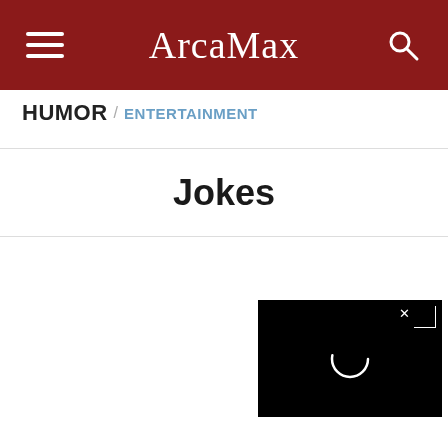ArcaMax
HUMOR / ENTERTAINMENT
Jokes
[Figure (screenshot): Black video player with a loading spinner circle in the center and a close button (x with corner bracket) in the top right corner]